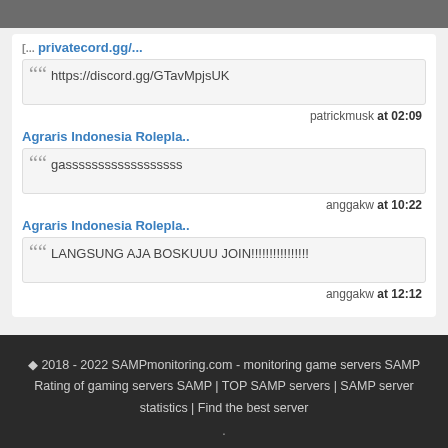https://discord.gg/GTavMpjsUK
patrickmusk at 02:09
Agraris Indonesia Rolepla..
gassssssssssssssssss
anggakw at 10:22
Agraris Indonesia Rolepla..
LANGSUNG AJA BOSKUUU JOIN!!!!!!!!!!!!!!!!
anggakw at 12:12
© 2018 - 2022 SAMPmonitoring.com - monitoring game servers SAMP
Rating of gaming servers SAMP | TOP SAMP servers | SAMP server statistics | Find the best server
.